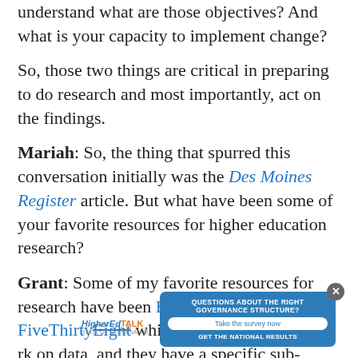understand what are those objectives? And what is your capacity to implement change?
So, those two things are critical in preparing to do research and most importantly, act on the findings.
Mariah: So, the thing that spurred this conversation initially was the Des Moines Register article. But what have been some of your favorite resources for higher education research?
Grant: Some of my favorite resources for research have been Brookings Institute, FiveThirtyEight which does excellent work on data, and they have a specific sub-section for higher
[Figure (other): A popup advertisement overlay for HigherEdTALK State of Governance survey, with text 'QUESTIONS ABOUT THE RIGHT GOVERNANCE STRUCTURE? Take the survey now GET THE NATIONAL RESULTS' and a close button.]